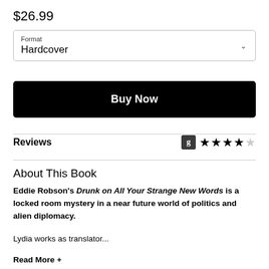$26.99
Format
Hardcover
Buy Now
Reviews
About This Book
Eddie Robson's Drunk on All Your Strange New Words is a locked room mystery in a near future world of politics and alien diplomacy.
Lydia works as translator...
Read More +